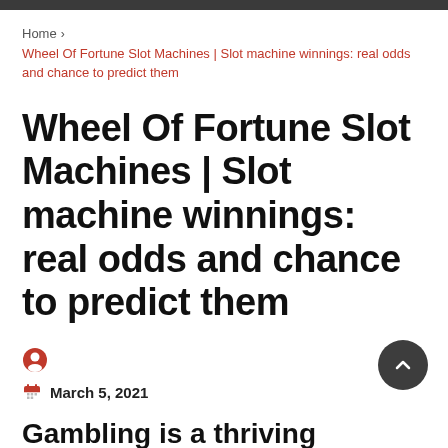Home > Wheel Of Fortune Slot Machines | Slot machine winnings: real odds and chance to predict them
Wheel Of Fortune Slot Machines | Slot machine winnings: real odds and chance to predict them
March 5, 2021
Gambling is a thriving